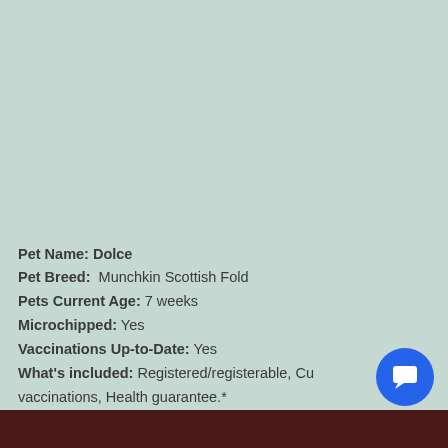[Figure (photo): Large mint/sage green background area occupying the upper two-thirds of the page, likely a pet photo area]
Pet Name: Dolce
Pet Breed: Munchkin Scottish Fold
Pets Current Age: 7 weeks
Microchipped: Yes
Vaccinations Up-to-Date: Yes
What's included: Registered/registerable, Cu... vaccinations, Health guarantee.*